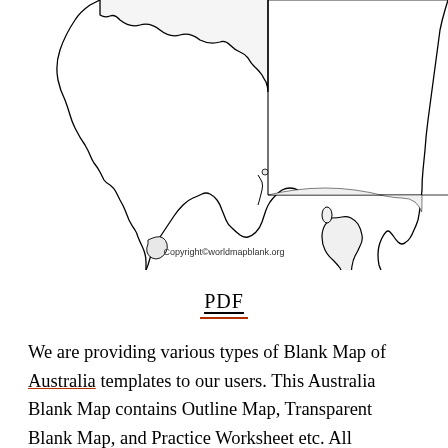[Figure (map): Partial blank outline map of Australia showing eastern states (South Australia, Victoria, New South Wales, Queensland) and Tasmania, with state border lines. Bottom of map cropped showing southern coastal regions. Copyright watermark: Copyright©worldmapblank.org]
Copyright©worldmapblank.org
PDF
We are providing various types of Blank Map of Australia templates to our users. This Australia Blank Map contains Outline Map, Transparent Blank Map, and Practice Worksheet etc. All templates in this map are fully printable. All our templates are available in high quality as per the usage of the